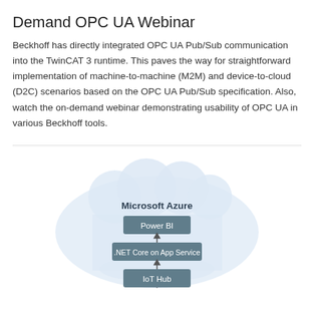Demand OPC UA Webinar
Beckhoff has directly integrated OPC UA Pub/Sub communication into the TwinCAT 3 runtime. This paves the way for straightforward implementation of machine-to-machine (M2M) and device-to-cloud (D2C) scenarios based on the OPC UA Pub/Sub specification. Also, watch the on-demand webinar demonstrating usability of OPC UA in various Beckhoff tools.
[Figure (schematic): Diagram showing Microsoft Azure cloud containing Power BI, .NET Core on App Service, and IoT Hub stacked vertically with arrows indicating data flow upward between IoT Hub, .NET Core on App Service, and Power BI.]